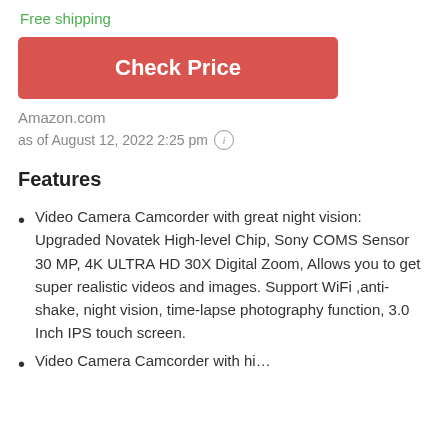Free shipping
Check Price
Amazon.com
as of August 12, 2022 2:25 pm ℹ
Features
Video Camera Camcorder with great night vision: Upgraded Novatek High-level Chip, Sony COMS Sensor 30 MP, 4K ULTRA HD 30X Digital Zoom, Allows you to get super realistic videos and images. Support WiFi ,anti-shake, night vision, time-lapse photography function, 3.0 Inch IPS touch screen.
Video Camera Camcorder with hi…